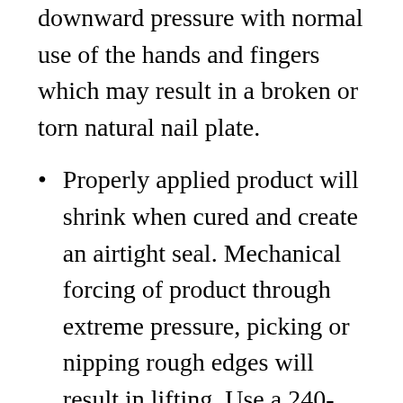downward pressure with normal use of the hands and fingers which may result in a broken or torn natural nail plate.
Properly applied product will shrink when cured and create an airtight seal. Mechanical forcing of product through extreme pressure, picking or nipping rough edges will result in lifting. Use a 240- grit file to remove rough edges or blend any lifting into the natural nail plate. Holding the file flat to the area of lift, gently file in the direction of the lifted material until the area of lift is removed. Do not over-file! Over-filing